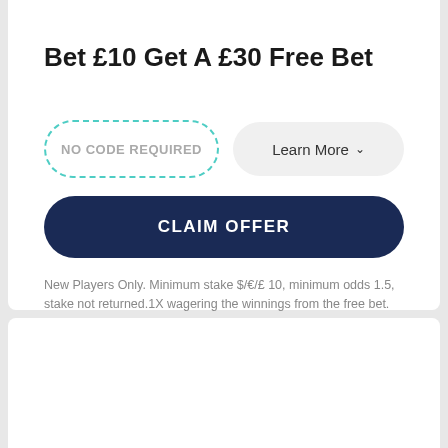Bet £10 Get A £30 Free Bet
NO CODE REQUIRED
Learn More
CLAIM OFFER
New Players Only. Minimum stake $/€/£ 10, minimum odds 1.5, stake not returned.1X wagering the winnings from the free bet. Wagering occurs from real balance first. Wagering requirement is calculated on bonus bets only, wagering starts from real funds. Free bet is valid for 7 Days from issue. Max conversion: $/€/£ 200. Excluded Skrill deposits. Withdrawal requests voids all active/pending bonuses . Full Terms Apply